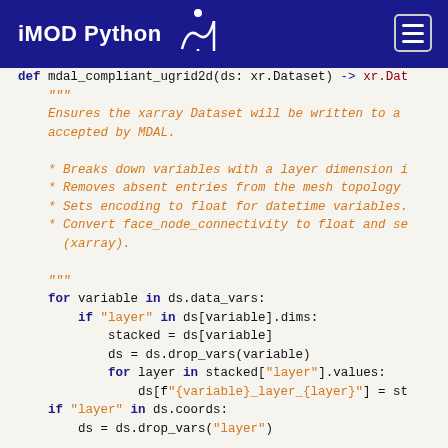iMOD Python
def mdal_compliant_ugrid2d(ds: xr.Dataset) -> xr.Dat
    """
    Ensures the xarray Dataset will be written to a
    accepted by MDAL.

    * Breaks down variables with a layer dimension i
    * Removes absent entries from the mesh topology
    * Sets encoding to float for datetime variables.
    * Convert face_node_connectivity to float and se
      (xarray).

    """
    for variable in ds.data_vars:
        if "layer" in ds[variable].dims:
            stacked = ds[variable]
            ds = ds.drop_vars(variable)
            for layer in stacked["layer"].values:
                ds[f"{variable}_layer_{layer}"] = st
    if "layer" in ds.coords:
        ds = ds.drop_vars("layer")

    # Find topology variables
    for variable in ds.data_vars: